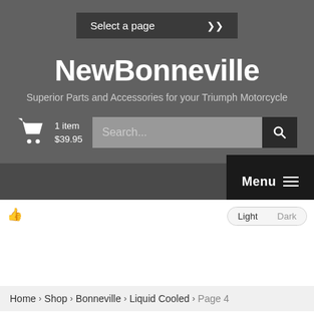Select a page
NewBonneville
Superior Parts and Accessories for your Triumph Motorcycle
1 item $39.95
Search...
Menu
Light Dark
Home > Shop > Bonneville > Liquid Cooled > Page 4